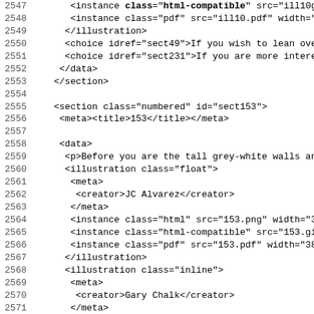Code listing lines 2547-2579, XML/markup source
| line | code |
| --- | --- |
| 2547 |   <instance class="html-compatible" src="ill10g... |
| 2548 |     <instance class="pdf" src="ill10.pdf" width="38... |
| 2549 |     </illustration> |
| 2550 |     <choice idref="sect49">If you wish to lean over... |
| 2551 |     <choice idref="sect231">If you are more interest... |
| 2552 |     </data> |
| 2553 |     </section> |
| 2554 |  |
| 2555 |     <section class="numbered" id="sect153"> |
| 2556 |      <meta><title>153</title></meta> |
| 2557 |  |
| 2558 |      <data> |
| 2559 |       <p>Before you are the tall grey-white walls and... |
| 2560 |       <illustration class="float"> |
| 2561 |        <meta> |
| 2562 |         <creator>JC Alvarez</creator> |
| 2563 |        </meta> |
| 2564 |        <instance class="html" src="153.png" width="386... |
| 2565 |        <instance class="html-compatible" src="153.gif'... |
| 2566 |        <instance class="pdf" src="153.pdf" width="386'... |
| 2567 |        </illustration> |
| 2568 |       <illustration class="inline"> |
| 2569 |        <meta> |
| 2570 |         <creator>Gary Chalk</creator> |
| 2571 |        </meta> |
| 2572 |        <instance class="html" src="small13.png" width=... |
| 2573 |        <instance class="html-compatible" src="small13.... |
| 2574 |        <instance class="pdf" src="small13.pdf" width=... |
| 2575 |        </illustration> |
| 2576 |       <p>To your right you can see the highway heading... |
| 2577 |       <choice idref="sect202">If you will try your luc... |
| 2578 |       <choice idref="sect135">If you feel that you sta... |
| 2579 |       <choice idref="sect329">Or if you are brave eno... |